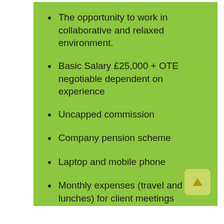The opportunity to work in collaborative and relaxed environment.
Basic Salary £25,000 + OTE negotiable dependent on experience
Uncapped commission
Company pension scheme
Laptop and mobile phone
Monthly expenses (travel and lunches) for client meetings